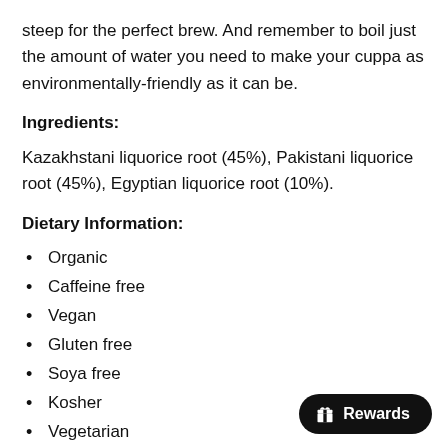steep for the perfect brew. And remember to boil just the amount of water you need to make your cuppa as environmentally-friendly as it can be.
Ingredients:
Kazakhstani liquorice root (45%), Pakistani liquorice root (45%), Egyptian liquorice root (10%).
Dietary Information:
Organic
Caffeine free
Vegan
Gluten free
Soya free
Kosher
Vegetarian
Wheat free
Dairy free